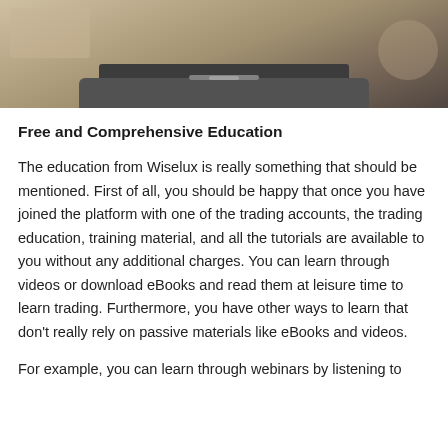[Figure (photo): Top portion of a laptop computer on a marble/stone surface, viewed from above and behind, showing the back of the screen and the base of the laptop on a beige/tan countertop.]
Free and Comprehensive Education
The education from Wiselux is really something that should be mentioned. First of all, you should be happy that once you have joined the platform with one of the trading accounts, the trading education, training material, and all the tutorials are available to you without any additional charges. You can learn through videos or download eBooks and read them at leisure time to learn trading. Furthermore, you have other ways to learn that don't really rely on passive materials like eBooks and videos.
For example, you can learn through webinars by listening to